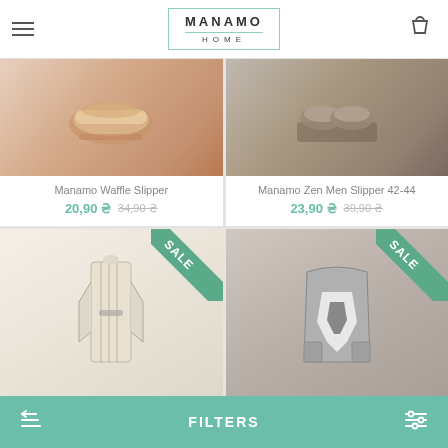MANAMO HOME
[Figure (photo): Close-up of beige/pink waffle slipper on wooden floor]
Manamo Waffle Slipper
20,90 ₴  34,90 ₴
[Figure (photo): Close-up of gray/taupe zen spa slippers on gray mat]
Manamo Zen Men Slipper 42-44
23,90 ₴  39,90 ₴
[Figure (photo): Woman wearing white and gray striped kimono robe with SALE badge]
[Figure (photo): Woman wearing gray ikat pattern knit cardigan/robe with SALE badge]
FILTERS